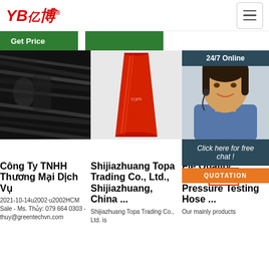[Figure (logo): YB 亿博 company logo in red italic text]
Get Price
[Figure (photo): Close-up of black hydraulic cables/hoses being held]
[Figure (photo): Red conical silicone hose/sleeve product on white background]
[Figure (photo): Customer service woman with headset, 24/7 Online overlay, Click here for free chat panel, QUOTATION button]
Công Ty TNHH Thương Mại Dịch Vụ
2021-10-14u2002·u2002HCM Sale - Ms. Thủy: 079 664 0303 - thuy@greentechvn.com
Shijiazhuang Topa Trading Co., Ltd., Shijiazhuang, China ...
Shijiazhuang Topa Trading Co., Ltd. is
Fle Quality Hydraulic Pressure Testing Hose ...
Our mainly products